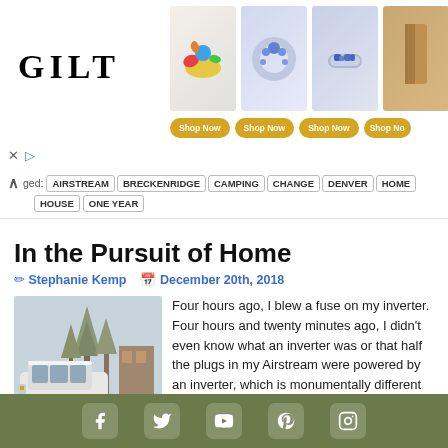[Figure (advertisement): GILT advertisement banner with logo, product images (colorful dachshund figurine, sapphire rings, fashion item), and Shop Now buttons]
Tagged: AIRSTREAM | BRECKENRIDGE | CAMPING | CHANGE | DENVER | HOME | HOUSE | ONE YEAR
In the Pursuit of Home
✏ Stephanie Kemp  📅 December 20th, 2018
[Figure (photo): White GMC SUV parked in snowy outdoor setting with trees and buildings in background]
Four hours ago, I blew a fuse on my inverter. Four hours and twenty minutes ago, I didn't even know what an inverter was or that half the plugs in my Airstream were powered by an inverter, which is monumentally different (and altogether far less powerful) than
Social media icons: Facebook, Twitter, YouTube, Pinterest, Instagram